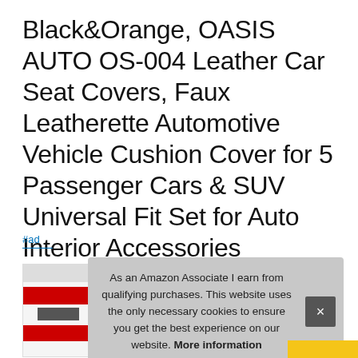Black&Orange, OASIS AUTO OS-004 Leather Car Seat Covers, Faux Leatherette Automotive Vehicle Cushion Cover for 5 Passenger Cars & SUV Universal Fit Set for Auto Interior Accessories Front&Rear
#ad
[Figure (screenshot): Partial product thumbnail image showing red and dark stripes, partially obscured by cookie consent banner]
As an Amazon Associate I earn from qualifying purchases. This website uses the only necessary cookies to ensure you get the best experience on our website. More information